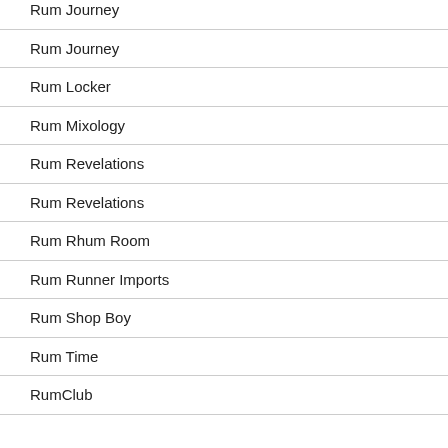Rum Journey
Rum Journey
Rum Locker
Rum Mixology
Rum Revelations
Rum Revelations
Rum Rhum Room
Rum Runner Imports
Rum Shop Boy
Rum Time
RumClub